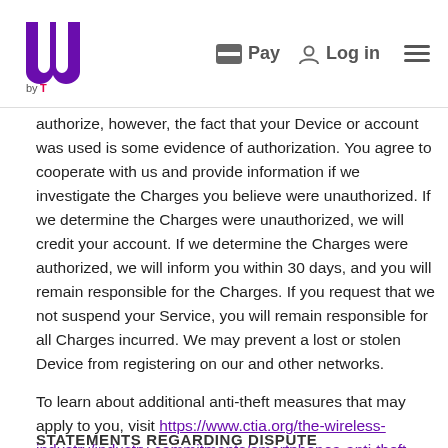m by T | Pay | Log in
authorize, however, the fact that your Device or account was used is some evidence of authorization. You agree to cooperate with us and provide information if we investigate the Charges you believe were unauthorized. If we determine the Charges were unauthorized, we will credit your account. If we determine the Charges were authorized, we will inform you within 30 days, and you will remain responsible for the Charges. If you request that we not suspend your Service, you will remain responsible for all Charges incurred. We may prevent a lost or stolen Device from registering on our and other networks.
To learn about additional anti-theft measures that may apply to you, visit https://www.ctia.org/the-wireless-industry/industry-commitments/smartphonea-anti-theft-voluntary-commitment.
STATEMENTS REGARDING DISPUTE